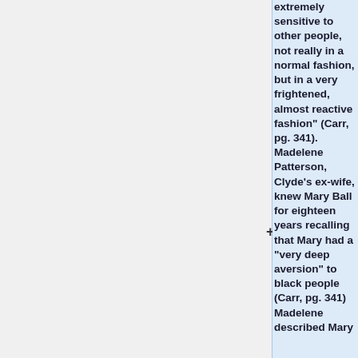extremely sensitive to other people, not really in a normal fashion, but in a very frightened, almost reactive fashion" (Carr, pg. 341). Madelene Patterson, Clyde's ex-wife, knew Mary Ball for eighteen years recalling that Mary had a "very deep aversion" to black people (Carr, pg. 341) Madelene described Mary